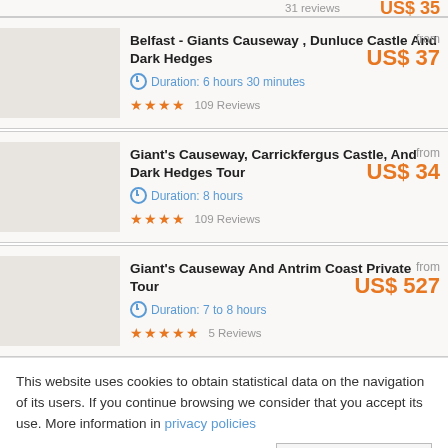Belfast - Giants Causeway , Dunluce Castle And Dark Hedges | Duration: 6 hours 30 minutes | 109 Reviews | from US$ 37
Giant's Causeway, Carrickfergus Castle, And Dark Hedges Tour | Duration: 8 hours | 109 Reviews | from US$ 34
Giant's Causeway And Antrim Coast Private Tour | Duration: 7 to 8 hours | 5 Reviews | from US$ 527
This website uses cookies to obtain statistical data on the navigation of its users. If you continue browsing we consider that you accept its use. More information in privacy policies
✕ Accept and close